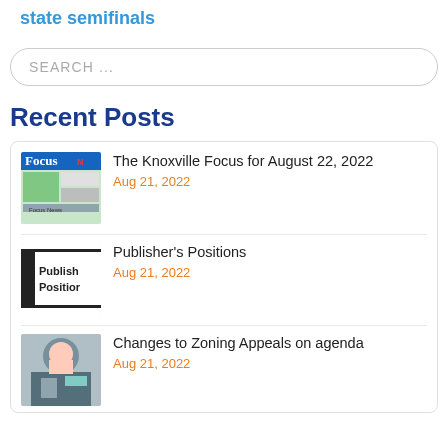state semifinals
SEARCH ...
Recent Posts
The Knoxville Focus for August 22, 2022
Aug 21, 2022
Publisher's Positions
Aug 21, 2022
Changes to Zoning Appeals on agenda
Aug 21, 2022